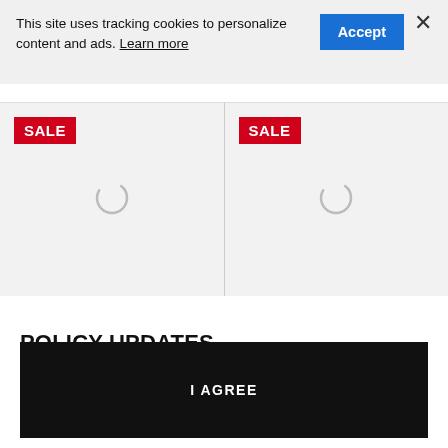This site uses tracking cookies to personalize content and ads. Learn more
[Figure (screenshot): Two product listing columns with red SALE badges and loading spinner icons on a light gray background]
POLICY UPDATES
We have updated our terms of use and privacy statement. By continuing to use this site, you agree to these policies.
I AGREE